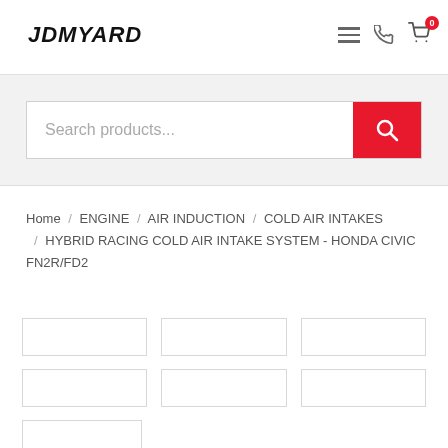JDMYARD
Search products...
Home / ENGINE / AIR INDUCTION / COLD AIR INTAKES / HYBRID RACING COLD AIR INTAKE SYSTEM - HONDA CIVIC FN2R/FD2
[Figure (screenshot): Thumbnail image grid with 7 empty white boxes arranged in 3 rows: first row 3 boxes, second row 3 boxes, third row 1 box on the left]